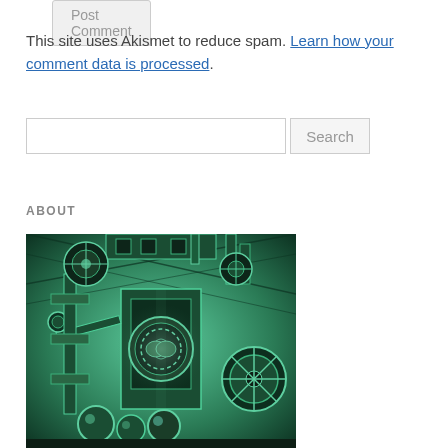Post Comment (button)
This site uses Akismet to reduce spam. Learn how your comment data is processed.
Search (input + button)
ABOUT
[Figure (illustration): A steampunk-style mechanical illustration with gears, cogs, pipes, orbs, and complex machinery rendered in green-tinted comic/graphic art style.]